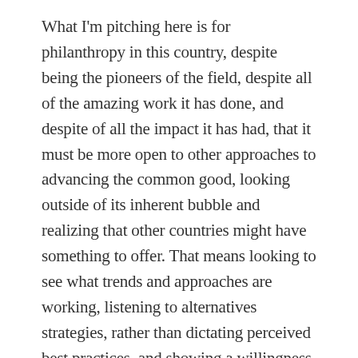What I'm pitching here is for philanthropy in this country, despite being the pioneers of the field, despite all of the amazing work it has done, and despite of all the impact it has had, that it must be more open to other approaches to advancing the common good, looking outside of its inherent bubble and realizing that other countries might have something to offer. That means looking to see what trends and approaches are working, listening to alternatives strategies, rather than dictating perceived best practices, and showing a willingness to collaborate on global issues such as ocean conservation, natural disasters and realizing new trends (for example social impact bonds originated in the UK a decade ago).
This feature piece will be a chance to take stock of